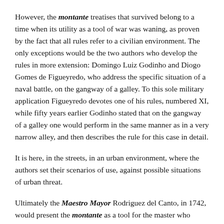However, the montante treatises that survived belong to a time when its utility as a tool of war was waning, as proven by the fact that all rules refer to a civilian environment. The only exceptions would be the two authors who develop the rules in more extension: Domingo Luiz Godinho and Diogo Gomes de Figueyredo, who address the specific situation of a naval battle, on the gangway of a galley. To this sole military application Figueyredo devotes one of his rules, numbered XI, while fifty years earlier Godinho stated that on the gangway of a galley one would perform in the same manner as in a very narrow alley, and then describes the rule for this case in detail.
It is here, in the streets, in an urban environment, where the authors set their scenarios of use, against possible situations of urban threat.
Ultimately the Maestro Mayor Rodriguez del Canto, in 1742, would present the montante as a tool for the master who would regulate public fencing bouts, a function which also seems to have been favoured in the territories under the portuguese crown. To this